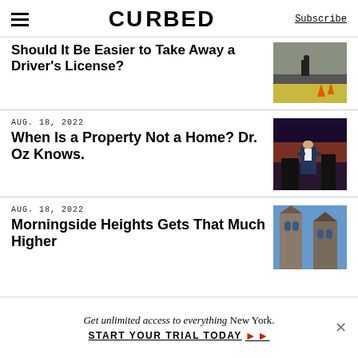CURBED | Subscribe
Should It Be Easier to Take Away a Driver's License?
AUG. 18, 2022
When Is a Property Not a Home? Dr. Oz Knows.
AUG. 18, 2022
Morningside Heights Gets That Much Higher
Get unlimited access to everything New York.
START YOUR TRIAL TODAY